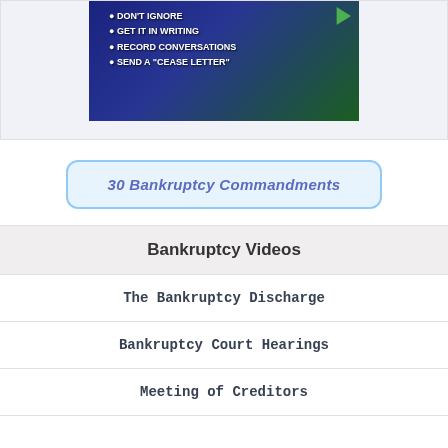[Figure (screenshot): Video screenshot with dark blue/green background showing bullet points: DON'T IGNORE, GET IT IN WRITING, RECORD CONVERSATIONS, SEND A "CEASE LETTER"]
30 Bankruptcy Commandments
Bankruptcy Videos
The Bankruptcy Discharge
Bankruptcy Court Hearings
Meeting of Creditors